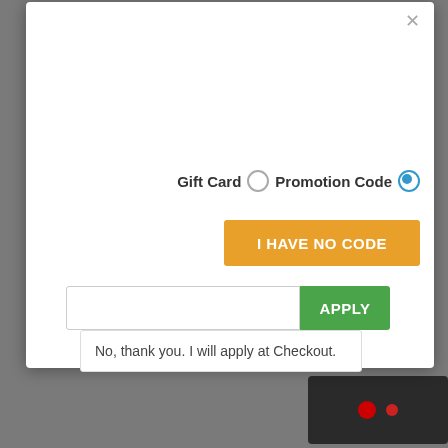[Figure (screenshot): A modal dialog overlay on a webpage showing a Gift Card / Promotion Code selection with radio buttons, an orange 'I HAVE NO CODE' button, a text input field with a green 'APPLY' button, and a dropdown link 'No, thank you. I will apply at Checkout.']
Gift Card   Promotion Code
I HAVE NO CODE
APPLY
No, thank you. I will apply at Checkout.